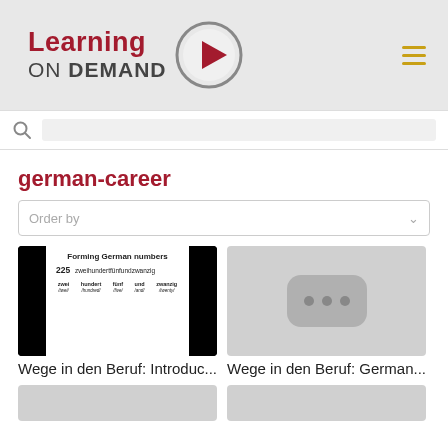[Figure (logo): Learning ON DEMAND logo with play button icon and hamburger menu icon]
[Figure (screenshot): Search bar with magnifier icon]
german-career
Order by
[Figure (screenshot): Thumbnail showing a slide about Forming German numbers with 225 zweihundertfünfundzwanzig broken down into zwei (two), hundert (hundred), fünf (five), und (and), zwanzig (twenty)]
[Figure (screenshot): Thumbnail showing a grey placeholder with three dots icon]
Wege in den Beruf: Introduc...
Wege in den Beruf: German...
[Figure (screenshot): Bottom left partial thumbnail grey placeholder]
[Figure (screenshot): Bottom right partial thumbnail grey placeholder]